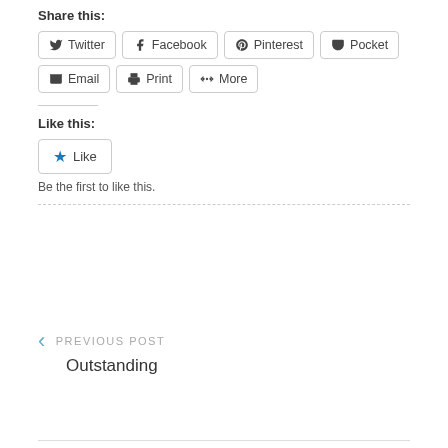Share this:
Twitter
Facebook
Pinterest
Pocket
Email
Print
More
Like this:
Like
Be the first to like this.
PREVIOUS POST Outstanding